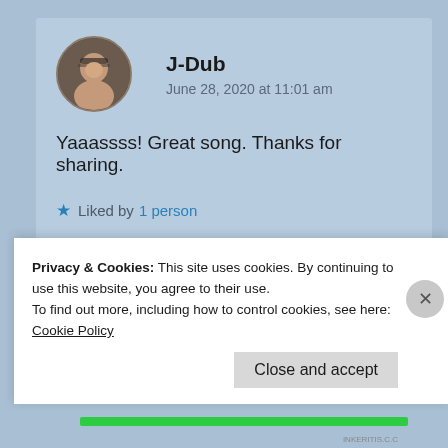J-Dub
June 28, 2020 at 11:01 am
Yaaassss! Great song. Thanks for sharing.
★ Liked by 1 person
↳ Reply
Privacy & Cookies: This site uses cookies. By continuing to use this website, you agree to their use.
To find out more, including how to control cookies, see here: Cookie Policy
Close and accept